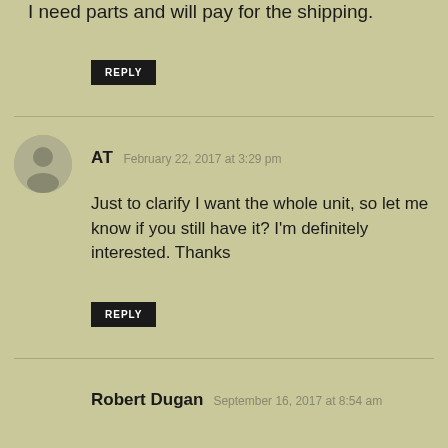I need parts and will pay for the shipping.
REPLY
AT  February 22, 2017 at 3:29 pm
Just to clarify I want the whole unit, so let me know if you still have it? I'm definitely interested. Thanks
REPLY
Robert Dugan  September 16, 2017 at 8:54 am